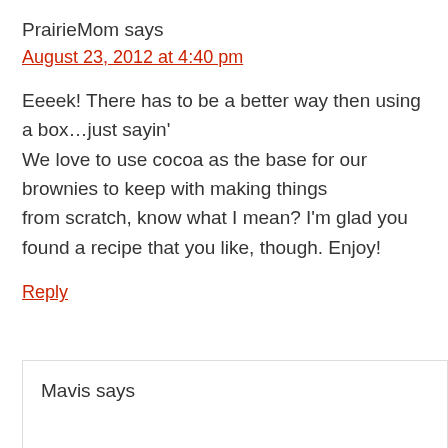PrairieMom says
August 23, 2012 at 4:40 pm
Eeeek! There has to be a better way then using a box…just sayin'
We love to use cocoa as the base for our brownies to keep with making things
from scratch, know what I mean? I'm glad you found a recipe that you like, though. Enjoy!
Reply
Mavis says